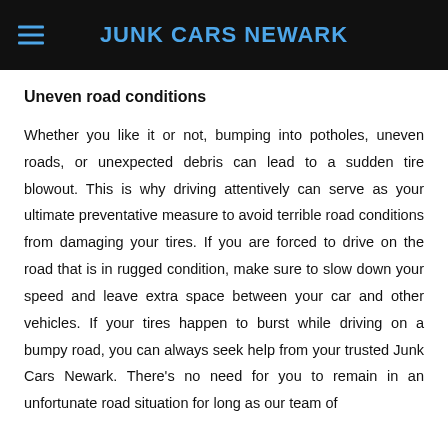JUNK CARS NEWARK
Uneven road conditions
Whether you like it or not, bumping into potholes, uneven roads, or unexpected debris can lead to a sudden tire blowout. This is why driving attentively can serve as your ultimate preventative measure to avoid terrible road conditions from damaging your tires. If you are forced to drive on the road that is in rugged condition, make sure to slow down your speed and leave extra space between your car and other vehicles. If your tires happen to burst while driving on a bumpy road, you can always seek help from your trusted Junk Cars Newark. There's no need for you to remain in an unfortunate road situation for long as our team of